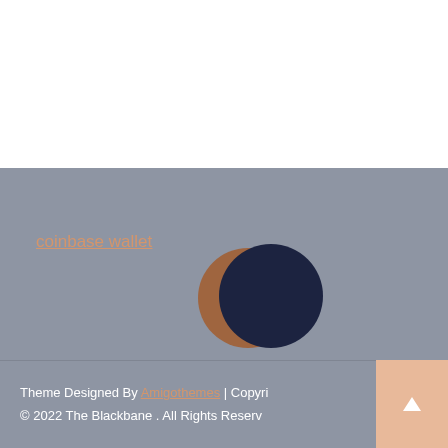coinbase wallet
[Figure (logo): Two overlapping circles forming a crescent/moon shape: a brown/copper colored circle on the left partially overlapped by a dark navy circle on the right, set against gray background]
compare medicare supplement plans
Theme Designed By Amigothemes | Copyright © 2022 The Blackbane . All Rights Reserved